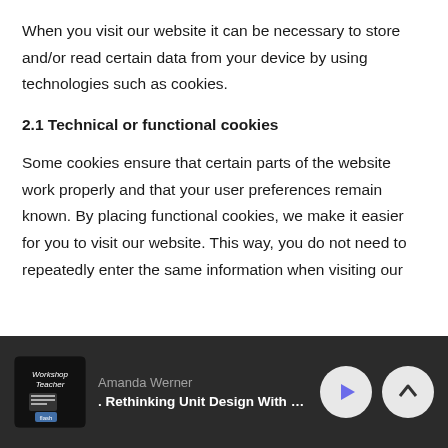When you visit our website it can be necessary to store and/or read certain data from your device by using technologies such as cookies.
2.1 Technical or functional cookies
Some cookies ensure that certain parts of the website work properly and that your user preferences remain known. By placing functional cookies, we make it easier for you to visit our website. This way, you do not need to repeatedly enter the same information when visiting our
[Figure (logo): Workshop Teacher podcast logo — handwritten-style text on dark background with book/notes icon]
Amanda Werner
. Rethinking Unit Design With Equity